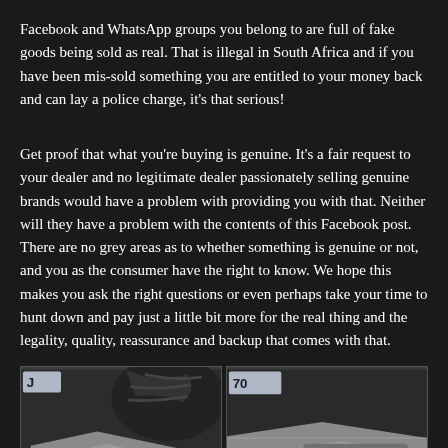Facebook and WhatsApp groups you belong to are full of fake goods being sold as real. That is illegal in South Africa and if you have been mis-sold something you are entitled to your money back and can lay a police charge, it's that serious!
Get proof that what you're buying is genuine. It's a fair request to your dealer and no legitimate dealer passionately selling genuine brands would have a problem with providing you with that. Neither will they have a problem with the contents of this Facebook post. There are no grey areas as to whether something is genuine or not, and you as the consumer have the right to know. We hope this makes you ask the right questions or even perhaps take your time to hunt down and pay just a little bit more for the real thing and the legality, quality, reassurance and backup that comes with that.
[Figure (photo): Two side-by-side photos showing vehicle undercarriage/tow hitch metal parts. Right photo has a yellow chat bubble icon overlay in bottom-right corner.]